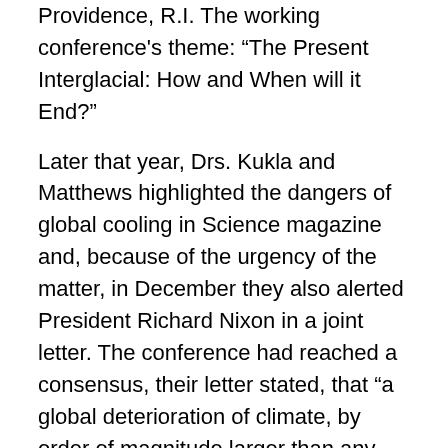Providence, R.I. The working conference's theme: "The Present Interglacial: How and When will it End?"
Later that year, Drs. Kukla and Matthews highlighted the dangers of global cooling in Science magazine and, because of the urgency of the matter, in December they also alerted President Richard Nixon in a joint letter. The conference had reached a consensus, their letter stated, that “a global deterioration of climate, by order of magnitude larger than any hitherto experienced by civilized mankind, is a very real possibility and indeed may be due very soon. The cooling has natural cause and falls within the rank of processes which produced the last ice age.”
The White House reacted swiftly to the letter, which described “substantially lowered food production” and